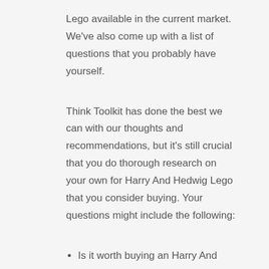Lego available in the current market. We've also come up with a list of questions that you probably have yourself.
Think Toolkit has done the best we can with our thoughts and recommendations, but it's still crucial that you do thorough research on your own for Harry And Hedwig Lego that you consider buying. Your questions might include the following:
Is it worth buying an Harry And Hedwig Lego?
What benefits are there with buying an Harry And Hedwig Lego?